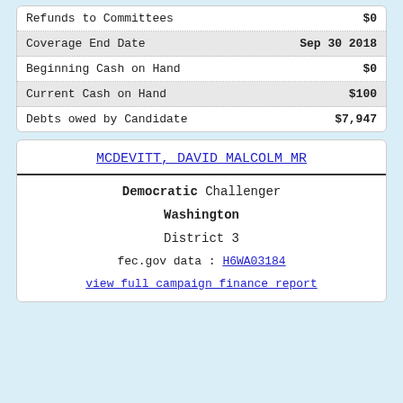| Label | Value |
| --- | --- |
| Refunds to Committees | $0 |
| Coverage End Date | Sep 30 2018 |
| Beginning Cash on Hand | $0 |
| Current Cash on Hand | $100 |
| Debts owed by Candidate | $7,947 |
MCDEVITT, DAVID MALCOLM MR
Democratic Challenger
Washington
District 3
fec.gov data : H6WA03184
view full campaign finance report